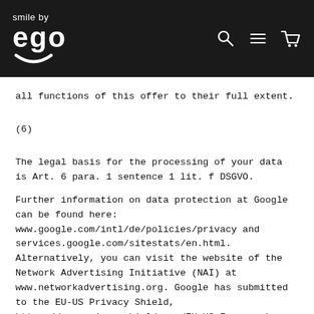smile by ego
all functions of this offer to their full extent.
(6)
The legal basis for the processing of your data is Art. 6 para. 1 sentence 1 lit. f DSGVO.
Further information on data protection at Google can be found here: www.google.com/intl/de/policies/privacy and services.google.com/sitestats/en.html. Alternatively, you can visit the website of the Network Advertising Initiative (NAI) at www.networkadvertising.org. Google has submitted to the EU-US Privacy Shield, https://www.privacyshield.gov/EU-US-Framework.
13 Remarketing